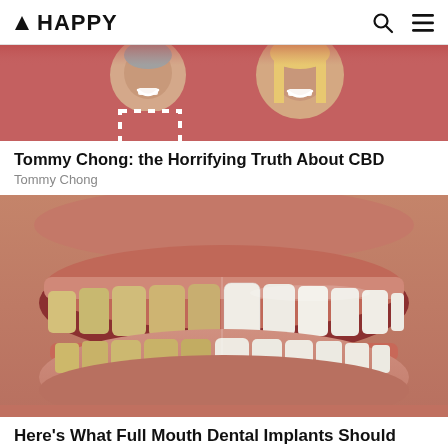▲ HAPPY
[Figure (photo): Smiling couple - man with grey hair in checkered shirt and woman with blonde hair, both smiling broadly]
Tommy Chong: the Horrifying Truth About CBD
Tommy Chong
[Figure (photo): Close-up of a smiling mouth showing teeth - left side yellowed/stained, right side white/bright, dental comparison image]
Here's What Full Mouth Dental Implants Should Cost